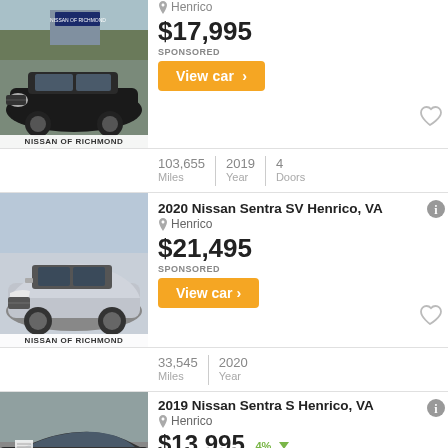[Figure (photo): Black Nissan Sentra car photo, Nissan of Richmond dealer bar at bottom]
Henrico
$17,995
SPONSORED
View car >
103,655 Miles | 2019 Year | 4 Doors
[Figure (photo): Silver Nissan Sentra 2020 car photo, Nissan of Richmond dealer bar at bottom]
2020 Nissan Sentra SV Henrico, VA
Henrico
$21,495
SPONSORED
View car >
33,545 Miles | 2020 Year
[Figure (photo): Dark gray Nissan Sentra 2019 car photo, partial view]
2019 Nissan Sentra S Henrico, VA
Henrico
$13,995 4%
SPONSORED
View car >